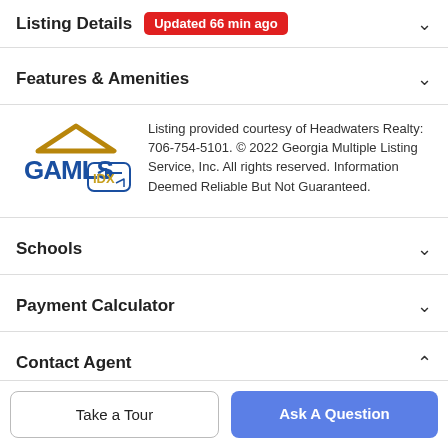Listing Details — Updated 66 min ago
Features & Amenities
[Figure (logo): GAMLS IDX logo — blue roof/house shape above 'GAMLS' in blue bold text, 'IDX' in a rounded square with blue arrows]
Listing provided courtesy of Headwaters Realty: 706-754-5101. © 2022 Georgia Multiple Listing Service, Inc. All rights reserved. Information Deemed Reliable But Not Guaranteed.
Schools
Payment Calculator
Contact Agent
Take a Tour
Ask A Question